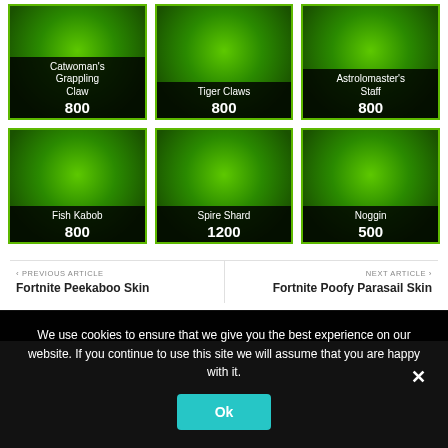[Figure (infographic): Grid of 6 game item cards with green gradient backgrounds and black price labels. Row 1: Catwoman's Grappling Claw (800), Tiger Claws (800), Astrolomaster's Staff (800). Row 2: Fish Kabob (800), Spire Shard (1200), Noggin (500).]
‹ PREVIOUS ARTICLE
Fortnite Peekaboo Skin
NEXT ARTICLE ›
Fortnite Poofy Parasail Skin
We use cookies to ensure that we give you the best experience on our website. If you continue to use this site we will assume that you are happy with it.
Ok